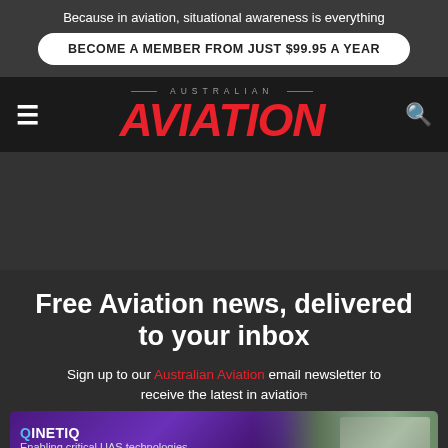Because in aviation, situational awareness is everything
BECOME A MEMBER FROM JUST $99.95 A YEAR
[Figure (logo): Australian Aviation logo with red italic AVIATION text and grey AUSTRALIAN text above]
Free Aviation news, delivered to your inbox
Sign up to our Australian Aviation email newsletter to receive the latest in aviation
[Figure (infographic): QinetiQ advertisement banner: Enabling critical UAS technologies, with purple gradient background and drone imagery on right]
First Name